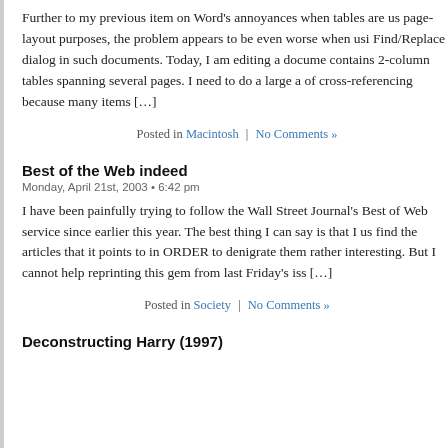Further to my previous item on Word’s annoyances when tables are us page-layout purposes, the problem appears to be even worse when usi Find/Replace dialog in such documents. Today, I am editing a docume contains 2-column tables spanning several pages. I need to do a large of cross-referencing because many items […]
Posted in Macintosh | No Comments »
Best of the Web indeed
Monday, April 21st, 2003 • 6:42 pm
I have been painfully trying to follow the Wall Street Journal’s Best o Web service since earlier this year. The best thing I can say is that I us find the articles that it points to in ORDER to denigrate them rather interesting. But I cannot help reprinting this gem from last Friday’s iss […]
Posted in Society | No Comments »
Deconstructing Harry (1997)